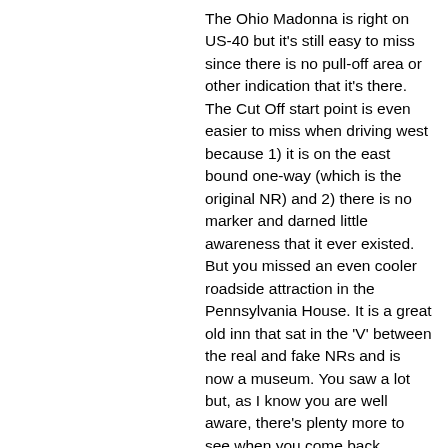The Ohio Madonna is right on US-40 but it's still easy to miss since there is no pull-off area or other indication that it's there. The Cut Off start point is even easier to miss when driving west because 1) it is on the east bound one-way (which is the original NR) and 2) there is no marker and darned little awareness that it ever existed. But you missed an even cooler roadside attraction in the Pennsylvania House. It is a great old inn that sat in the 'V' between the real and fake NRs and is now a museum. You saw a lot but, as I know you are well aware, there's plenty more to see when you come back.